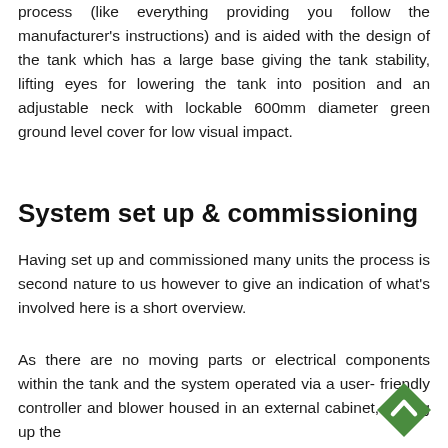process (like everything providing you follow the manufacturer's instructions) and is aided with the design of the tank which has a large base giving the tank stability, lifting eyes for lowering the tank into position and an adjustable neck with lockable 600mm diameter green ground level cover for low visual impact.
System set up & commissioning
Having set up and commissioned many units the process is second nature to us however to give an indication of what's involved here is a short overview.
As there are no moving parts or electrical components within the tank and the system operated via a user- friendly controller and blower housed in an external cabinet, setting up the
[Figure (other): Green diamond-shaped back-to-top button with an upward chevron arrow in white]